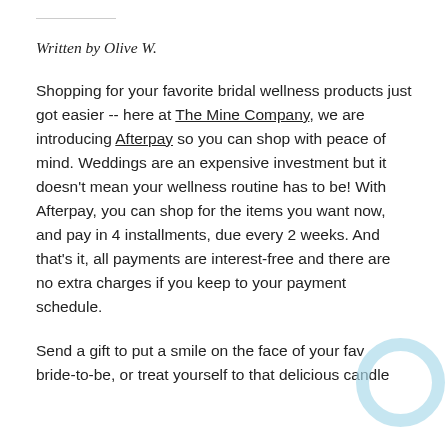Written by Olive W.
Shopping for your favorite bridal wellness products just got easier -- here at The Mine Company, we are introducing Afterpay so you can shop with peace of mind. Weddings are an expensive investment but it doesn't mean your wellness routine has to be! With Afterpay, you can shop for the items you want now, and pay in 4 installments, due every 2 weeks. And that's it, all payments are interest-free and there are no extra charges if you keep to your payment schedule.
Send a gift to put a smile on the face of your fave bride-to-be, or treat yourself to that delicious candle
[Figure (logo): Light blue circular ring logo in the bottom right corner]